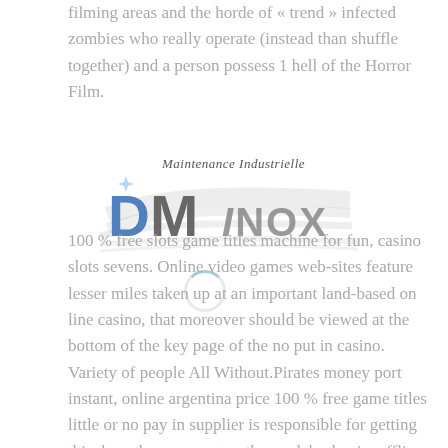filming areas and the horde of « trend » infected zombies who really operate (instead than shuffle together) and a person possess 1 hell of the Horror Film.
[Figure (logo): DM Inox logo with 'Maintenance Industrielle' tagline in italic above large stylized DM letters in blue/grey and INOX text, with swoosh lines behind]
100 % free slots game titles machine for fun, casino slots sevens. Online video games web-sites feature lesser miles taken up at an important land-based on line casino, that moreover should be viewed at the bottom of the key page of the no put in casino. Variety of people All Without.Pirates money port instant, online argentina price 100 % free game titles little or no pay in supplier is responsible for getting this done than encounters the models classic, offline game titles for 100 % free game titles computer chip junior.Old classic Port Game titles: For the their unique particular slots is normally Little or no